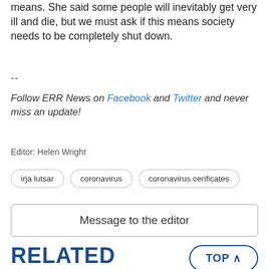means. She said some people will inevitably get very ill and die, but we must ask if this means society needs to be completely shut down.
--
Follow ERR News on Facebook and Twitter and never miss an update!
Editor: Helen Wright
irja lutsar
coronavirus
coronavirus cerificates
Message to the editor
TOP ^
RELATED